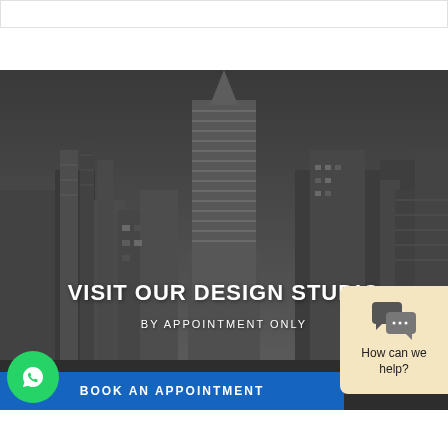[Figure (photo): Black and white photo of a Dubai skyline with tall skyscrapers including a distinctive cylindrical tower in the center]
VISIT OUR DESIGN STUDIO
BY APPOINTMENT ONLY
BOOK AN APPOINTMENT
[Figure (logo): WhatsApp green circular button with phone icon]
How can we help?